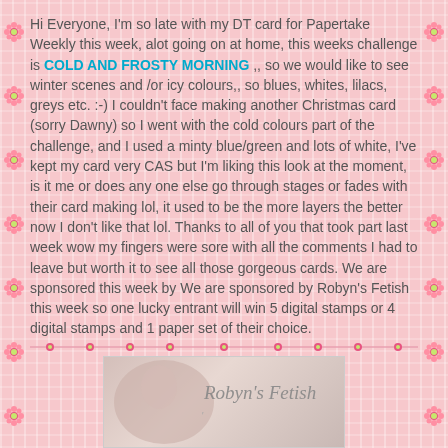Hi Everyone, I'm so late with my DT card for Papertake Weekly this week, alot going on at home, this weeks challenge is COLD AND FROSTY MORNING ,, so we would like to see winter scenes and /or icy colours,, so blues, whites, lilacs, greys etc. :-)
I couldn't face making another Christmas card (sorry Dawny) so I went with the cold colours part of the challenge, and I used a minty blue/green and lots of white, I've kept my card very CAS but I'm liking this look at the moment, is it me or does any one else go through stages or fades with their card making lol, it used to be the more layers the better now I don't like that lol. Thanks to all of you that took part last week wow my fingers were sore with all the comments I had to leave but worth it to see all those gorgeous cards. We are sponsored this week by We are sponsored by Robyn's Fetish this week so one lucky entrant will win 5 digital stamps or 4 digital stamps and 1 paper set of their choice.
[Figure (photo): Robyn's Fetish logo/image with cursive text over a soft pink/brown background with a figure]